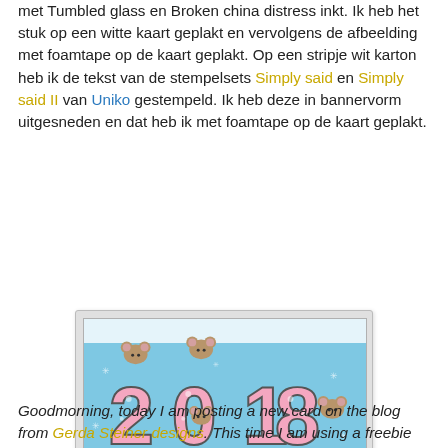met Tumbled glass en Broken china distress inkt. Ik heb het stuk op een witte kaart geplakt en vervolgens de afbeelding met foamtape op de kaart geplakt. Op een stripje wit karton heb ik de tekst van de stempelsets Simply said en Simply said II van Uniko gestempeld. Ik heb deze in bannervorm uitgesneden en dat heb ik met foamtape op de kaart geplakt.
[Figure (photo): A handmade New Year card showing the number 2018 in large pink bubble letters with cartoon mice sitting on and inside the numbers, on a light blue background with white snowflakes. A white banner at top and bottom. Text 'Happy New Year' in bottom right corner.]
Goodmorning, today I am posting a new card on the blog from Gerda Steiner designs. This time I am using a freebie that you can download from the site from Gerda Steiner designs. I made a card with the image 2019 mice from